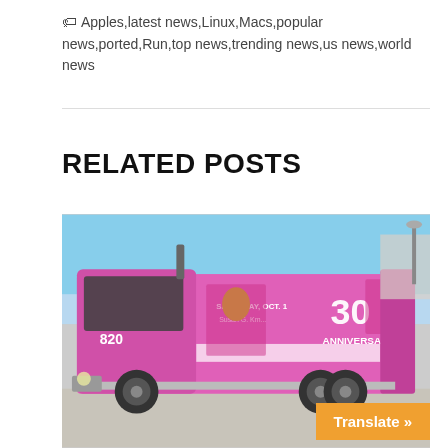🏷 Apples,latest news,Linux,Macs,popular news,ported,Run,top news,trending news,us news,world news
RELATED POSTS
[Figure (photo): A pink-wrapped truck/ambulance with '820' on the side and '30 ANNIVERSARY' branding, parked outdoors under a blue sky]
Translate »